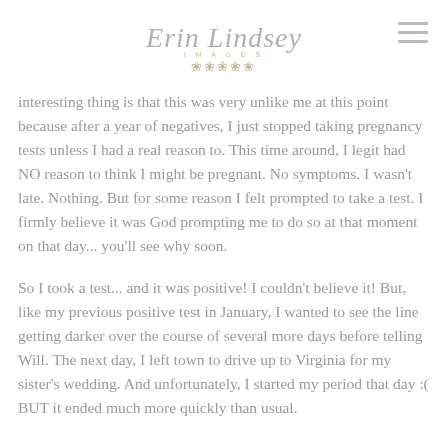Erin Lindsey Images
interesting thing is that this was very unlike me at this point because after a year of negatives, I just stopped taking pregnancy tests unless I had a real reason to. This time around, I legit had NO reason to think I might be pregnant. No symptoms. I wasn't late. Nothing. But for some reason I felt prompted to take a test. I firmly believe it was God prompting me to do so at that moment on that day... you'll see why soon.
So I took a test... and it was positive! I couldn't believe it! But, like my previous positive test in January, I wanted to see the line getting darker over the course of several more days before telling Will. The next day, I left town to drive up to Virginia for my sister's wedding. And unfortunately, I started my period that day :( BUT it ended much more quickly than usual.